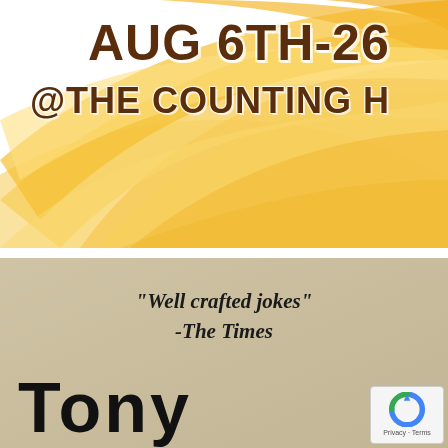[Figure (illustration): Top section of a comedy show flyer with orange/yellow swirl decorative background. Text reads 'AUG 6TH-26' and '@ THE COUNTING H' in large brown bold lettering with white outline on a yellow/orange swirling decorative background.]
"Well crafted jokes" -The Times
Tony
[Figure (logo): reCAPTCHA badge with circular arrow logo and 'Privacy - Terms' text]